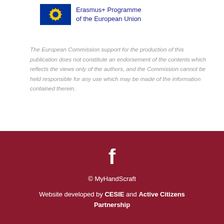[Figure (logo): EU flag and Erasmus+ Programme of the European Union logo]
The European Commission support for the production of this publication does not constitute an endorsement of the contents which reflects the views only of the authors, and the Commission cannot be held responsible for any use which may be made of the information contained therein.
[Figure (logo): Facebook icon (white 'f' on dark red background)]
© MyHandScraft
Website developed by CESIE and Active Citizens Partnership